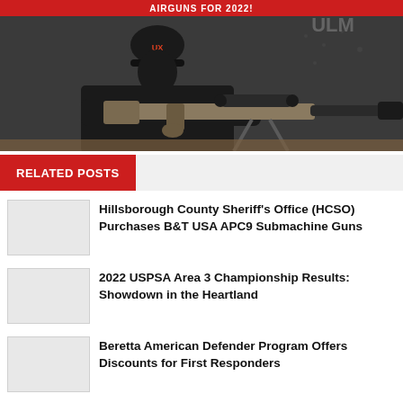[Figure (photo): Advertisement banner showing a person wearing a black cap and hoodie aiming a rifle with a scope on a bipod. Red banner at top reads 'AIRGUNS FOR 2022!' with UX/ULX branding visible.]
RELATED POSTS
Hillsborough County Sheriff's Office (HCSO) Purchases B&T USA APC9 Submachine Guns
2022 USPSA Area 3 Championship Results: Showdown in the Heartland
Beretta American Defender Program Offers Discounts for First Responders
Air Force OSI Selects Glocks for New Duty